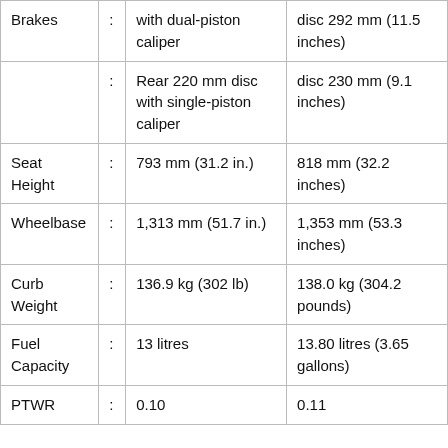|  |  |  |  |
| --- | --- | --- | --- |
| Brakes | : | with dual-piston caliper | disc 292 mm (11.5 inches) |
|  | : | Rear 220 mm disc with single-piston caliper | disc 230 mm (9.1 inches) |
| Seat Height | : | 793 mm (31.2 in.) | 818 mm (32.2 inches) |
| Wheelbase | : | 1,313 mm (51.7 in.) | 1,353 mm (53.3 inches) |
| Curb Weight | : | 136.9 kg (302 lb) | 138.0 kg (304.2 pounds) |
| Fuel Capacity | : | 13 litres | 13.80 litres (3.65 gallons) |
| PTWR | : | 0.10 | 0.11 |